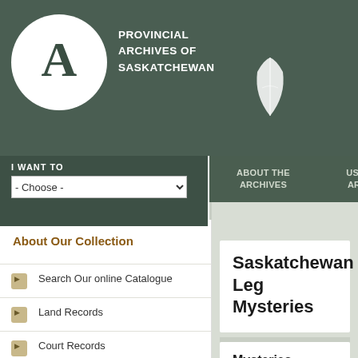PROVINCIAL ARCHIVES OF SASKATCHEWAN
I WANT TO - Choose -
ABOUT THE ARCHIVES
USING THE ARCHIVES
A C
Home › About Our Collection › Exhi... Capsule - Mysteries
About Our Collection
Search Our online Catalogue
Land Records
Court Records
Documentary Art
Education and School Records
Family History Research Sources
Ressources en français /
Saskatchewan Leg... Mysteries
Mysteries
The contents of the time capsu... capsule – with two exceptions.